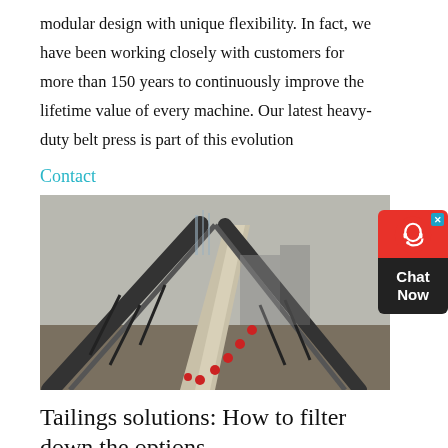modular design with unique flexibility. In fact, we have been working closely with customers for more than 150 years to continuously improve the lifetime value of every machine. Our latest heavy-duty belt press is part of this evolution
Contact
[Figure (photo): Industrial conveyor belt or belt press equipment outdoors in a mining or industrial setting, showing long inclined belt structures with machinery components.]
Tailings solutions: How to filter down the options
Belt filter presses have been used extensively for small tonnage tailings dewatering since the 1980s, and are extensively used in the coal industry for dewatering the fine tailings. This pressure filter also has the advantage of being